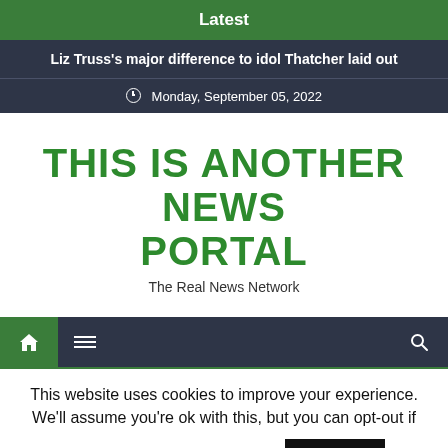Latest
Liz Truss's major difference to idol Thatcher laid out
Monday, September 05, 2022
THIS IS ANOTHER NEWS PORTAL
The Real News Network
This website uses cookies to improve your experience. We'll assume you're ok with this, but you can opt-out if you wish. Cookie settings ACCEPT